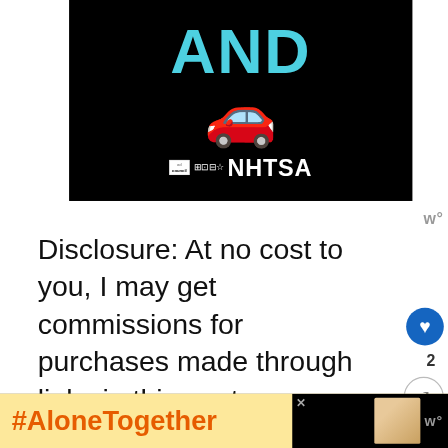[Figure (screenshot): Dark background banner showing 'AND' in large teal letters with a red car emoji and ad council / NHTSA logos at bottom]
Disclosure: At no cost to you, I may get commissions for purchases made through links in this post.
The SMART 5-step goal-setting process can be applied to any goal.  For example, life goals, like
[Figure (screenshot): WHAT'S NEXT widget showing article preview: '10 Long-Term Financial...' with thumbnail image]
[Figure (screenshot): Bottom bar with #AloneTogether hashtag in orange on yellow background and a kitchen/food image on black background with wordmark]